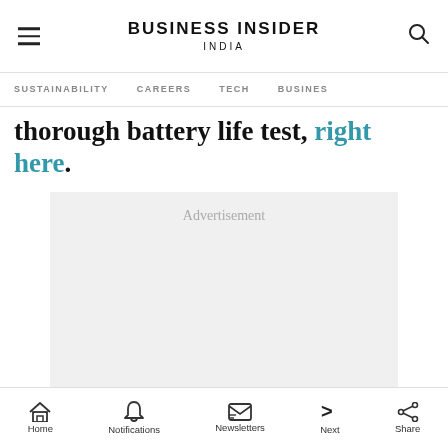BUSINESS INSIDER INDIA
SUSTAINABILITY   CAREERS   TECH   BUSINESS
thorough battery life test, right here.
[Figure (other): Advertisement placeholder box]
[Figure (other): Lidl advertisement banner: Lidl: More Food for Less Money]
Home   Notifications   Newsletters   Next   Share